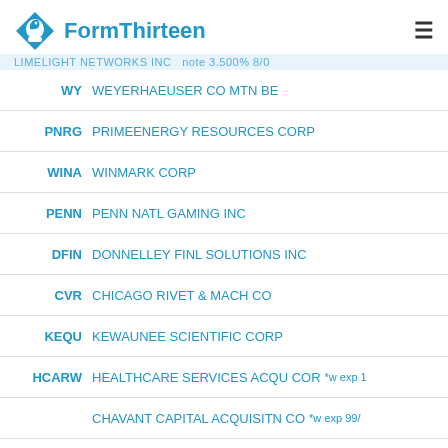[Figure (logo): FormThirteen logo with blue diamond chess knight icon and blue bold text]
LIMELIGHT NETWORKS INC note 3.500% 8/0
WY WEYERHAEUSER CO MTN BE
PNRG PRIMEENERGY RESOURCES CORP
WINA WINMARK CORP
PENN PENN NATL GAMING INC
DFIN DONNELLEY FINL SOLUTIONS INC
CVR CHICAGO RIVET & MACH CO
KEQU KEWAUNEE SCIENTIFIC CORP
HCARW HEALTHCARE SERVICES ACQU COR *w exp 1
CHAVANT CAPITAL ACQUISITN CO *w exp 99/
LAKESHORE ACQUISITION I CORP *w exp 07/
The following EDGAR filing(s) were analyzed to create this report:
13-F (2022-05-17)